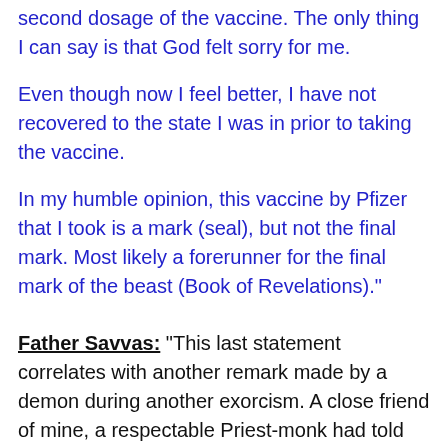second dosage of the vaccine. The only thing I can say is that God felt sorry for me.
Even though now I feel better, I have not recovered to the state I was in prior to taking the vaccine.
In my humble opinion, this vaccine by Pfizer that I took is a mark (seal), but not the final mark. Most likely a forerunner for the final mark of the beast (Book of Revelations)."
Father Savvas: “This last statement correlates with another remark made by a demon during another exorcism. A close friend of mine, a respectable Priest-monk had told me. He had a dialogue with a demon during an exorcism